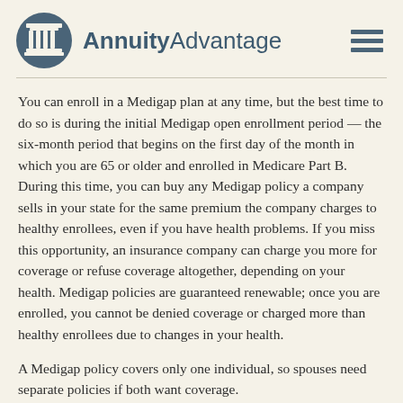AnnuityAdvantage
You can enroll in a Medigap plan at any time, but the best time to do so is during the initial Medigap open enrollment period — the six-month period that begins on the first day of the month in which you are 65 or older and enrolled in Medicare Part B. During this time, you can buy any Medigap policy a company sells in your state for the same premium the company charges to healthy enrollees, even if you have health problems. If you miss this opportunity, an insurance company can charge you more for coverage or refuse coverage altogether, depending on your health. Medigap policies are guaranteed renewable; once you are enrolled, you cannot be denied coverage or charged more than healthy enrollees due to changes in your health.
A Medigap policy covers only one individual, so spouses need separate policies if both want coverage.
All-in-One Coverage